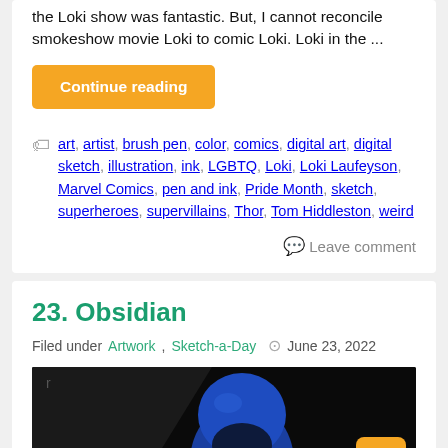the Loki show was fantastic. But, I cannot reconcile smokeshow movie Loki to comic Loki. Loki in the ...
Continue reading
art, artist, brush pen, color, comics, digital art, digital sketch, illustration, ink, LGBTQ, Loki, Loki Laufeyson, Marvel Comics, pen and ink, Pride Month, sketch, superheroes, supervillains, Thor, Tom Hiddleston, weird
Leave comment
23. Obsidian
Filed under Artwork, Sketch-a-Day  June 23, 2022
[Figure (illustration): Dark background illustration showing a blue-helmeted figure (Obsidian/superhero character) from the chest up against a black background]